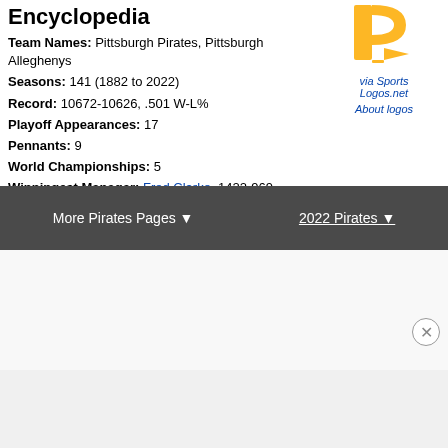Encyclopedia
Team Names: Pittsburgh Pirates, Pittsburgh Alleghenys
Seasons: 141 (1882 to 2022)
Record: 10672-10626, .501 W-L%
Playoff Appearances: 17
Pennants: 9
World Championships: 5
Winningest Manager: Fred Clarke, 1422-969, .595 W-L%
[Figure (logo): Pittsburgh Pirates logo - yellow P with pirate flag style]
via Sports Logos.net
About logos
More Pirates Pages ▼    2022 Pirates ▼